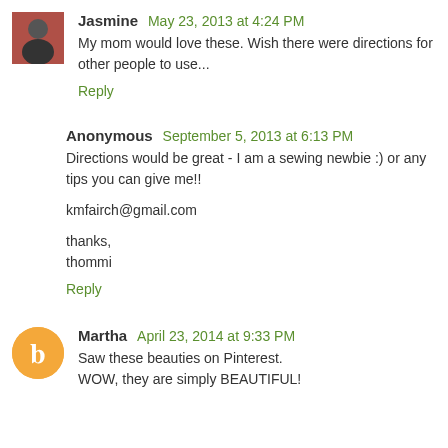[Figure (photo): Small profile photo of Jasmine, a woman in dark clothing against a red background]
Jasmine May 23, 2013 at 4:24 PM
My mom would love these. Wish there were directions for other people to use...
Reply
Anonymous September 5, 2013 at 6:13 PM
Directions would be great - I am a sewing newbie :) or any tips you can give me!!
kmfairch@gmail.com
thanks,
thommi
Reply
[Figure (logo): Orange circle avatar with white letter B for Martha's profile]
Martha April 23, 2014 at 9:33 PM
Saw these beauties on Pinterest.
WOW, they are simply BEAUTIFUL!